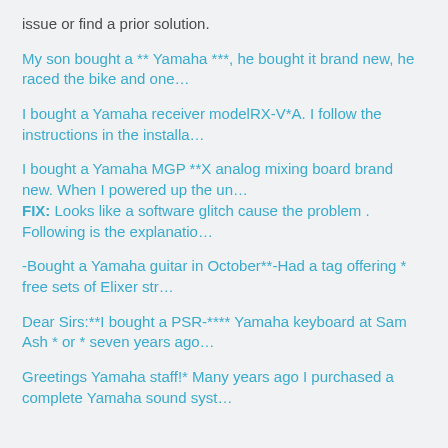issue or find a prior solution.
My son bought a ** Yamaha ***, he bought it brand new, he raced the bike and one…
I bought a Yamaha receiver modelRX-V*A. I follow the instructions in the installa…
I bought a Yamaha MGP **X analog mixing board brand new. When I powered up the un… FIX: Looks like a software glitch cause the problem . Following is the explanatio…
-Bought a Yamaha guitar in October**-Had a tag offering * free sets of Elixer str…
Dear Sirs:**I bought a PSR-**** Yamaha keyboard at Sam Ash * or * seven years ago…
Greetings Yamaha staff!* Many years ago I purchased a complete Yamaha sound syst…